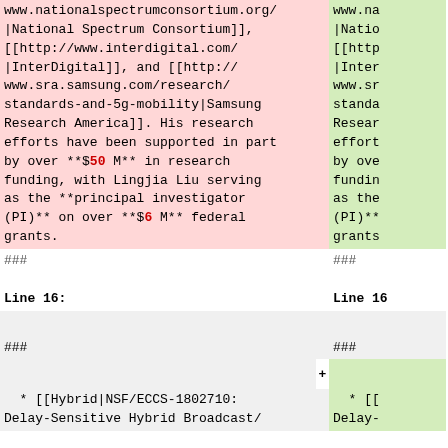www.nationalspectrumconsortium.org/|National Spectrum Consortium]], [[http://www.interdigital.com/|InterDigital]], and [[http://www.sra.samsung.com/research/standards-and-5g-mobility|Samsung Research America]]. His research efforts have been supported in part by over **$50 M** in research funding, with Lingjia Liu serving as the **principal investigator (PI)** on over **$6 M** federal grants.
###
Line 16:
###
* [[Hybrid|NSF/ECCS-1802710: Delay-Sensitive Hybrid Broadcast/